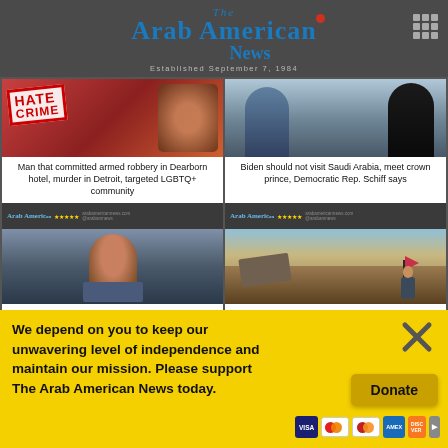The Arab American News — Established September 7, 1984
[Figure (photo): Hate Crime stamp image with gavel]
Man that committed armed robbery in Dearborn hotel, murder in Detroit, targeted LGBTQ+ community
[Figure (photo): Biden and Saudi crown prince photo]
Biden should not visit Saudi Arabia, meet crown prince, Democratic Rep. Schiff says
[Figure (photo): Arab American News article header strip left]
[Figure (photo): Arab American News article header strip right]
[Figure (photo): Mugshot photo of Ypsilanti man]
Court appearance reveals details on Ypsilanti man who killed 12-year-old Dearborn girl on Belle Isle
[Figure (photo): Ruins in Palestine with person holding flag]
The ethnic cleansing of Masafer Yatta: Israel's new annexation strategy in Palestine
We depend on you to keep our unwavering level of independence and maintain our mission. Please support The Arab American News today.